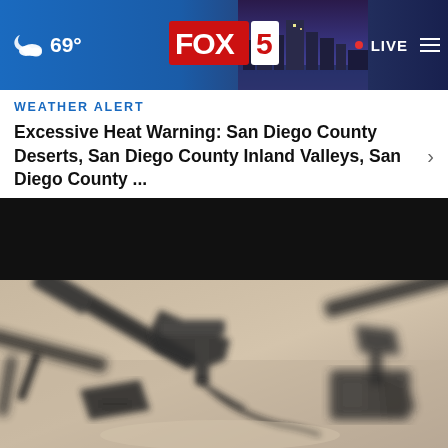🌙 69° | FOX 5 | LIVE
WEATHER ALERT
Excessive Heat Warning: San Diego County Deserts, San Diego County Inland Valleys, San Diego County ...
[Figure (photo): Close-up photo of multiple dark-colored firearms (handguns and rifles) on a light surface]